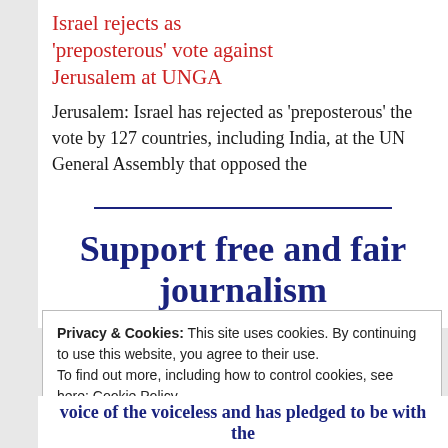Israel rejects as 'preposterous' vote against Jerusalem at UNGA
Jerusalem: Israel has rejected as 'preposterous' the vote by 127 countries, including India, at the UN General Assembly that opposed the
Support free and fair journalism
Privacy & Cookies: This site uses cookies. By continuing to use this website, you agree to their use.
To find out more, including how to control cookies, see here: Cookie Policy
Close and accept
voice of the voiceless and has pledged to be with the